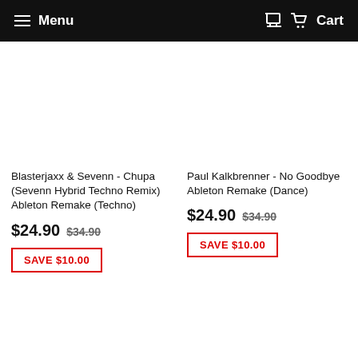Menu   Cart
Blasterjaxx & Sevenn - Chupa (Sevenn Hybrid Techno Remix) Ableton Remake (Techno)
$24.90  $34.90
SAVE $10.00
Paul Kalkbrenner - No Goodbye Ableton Remake (Dance)
$24.90  $34.90
SAVE $10.00